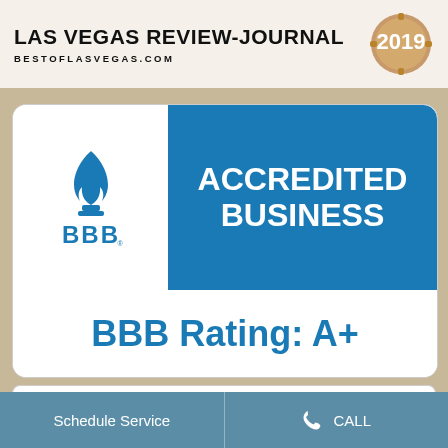[Figure (logo): Las Vegas Review-Journal 2019 Best of Las Vegas logo with bronze medal badge]
[Figure (logo): BBB Accredited Business badge with BBB flame logo on white background and blue panel reading ACCREDITED BUSINESS, below that BBB Rating: A+]
[Figure (logo): Partial view of a grey seal/badge logo at bottom]
Schedule Service
CALL